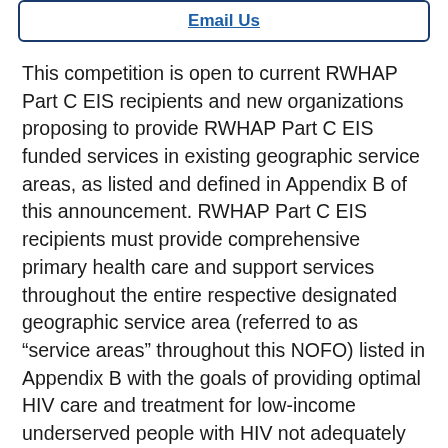Email Us
This competition is open to current RWHAP Part C EIS recipients and new organizations proposing to provide RWHAP Part C EIS funded services in existing geographic service areas, as listed and defined in Appendix B of this announcement. RWHAP Part C EIS recipients must provide comprehensive primary health care and support services throughout the entire respective designated geographic service area (referred to as “service areas” throughout this NOFO) listed in Appendix B with the goals of providing optimal HIV care and treatment for low-income underserved people with HIV not adequately covered by other sources of support. HRSA will fund up to five service areas under this notice. Applications under HRSA-22-017 must address the entire service area, as defined in